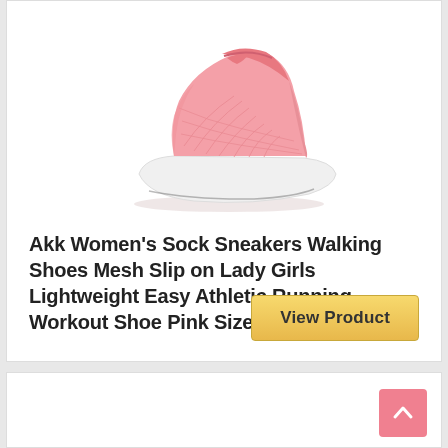[Figure (photo): Pink women's slip-on sock sneaker with white sole, viewed from side angle on white background]
Akk Women's Sock Sneakers Walking Shoes Mesh Slip on Lady Girls Lightweight Easy Athletic Running Workout Shoe Pink Size 9